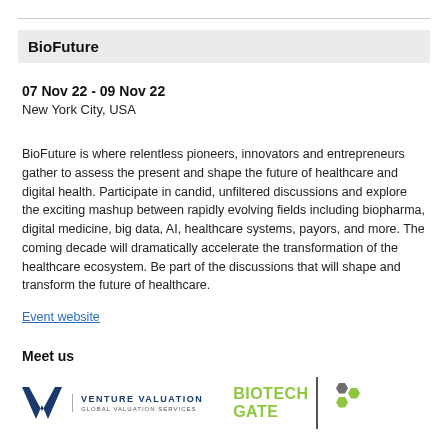BioFuture
07 Nov 22 - 09 Nov 22
New York City, USA
BioFuture is where relentless pioneers, innovators and entrepreneurs gather to assess the present and shape the future of healthcare and digital health. Participate in candid, unfiltered discussions and explore the exciting mashup between rapidly evolving fields including biopharma, digital medicine, big data, AI, healthcare systems, payors, and more. The coming decade will dramatically accelerate the transformation of the healthcare ecosystem. Be part of the discussions that will shape and transform the future of healthcare.
Event website
Meet us
[Figure (logo): Venture Valuation Global Valuation Services logo and Biotech Gate logo side by side]